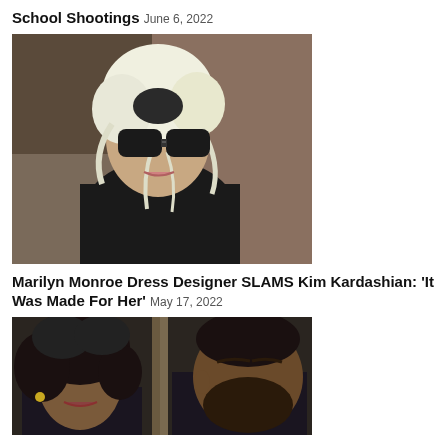School Shootings June 6, 2022
[Figure (photo): Woman with platinum blonde hair wearing black sunglasses and black outfit, photographed outdoors]
Marilyn Monroe Dress Designer SLAMS Kim Kardashian: ‘It Was Made For Her’ May 17, 2022
[Figure (photo): Two people photographed at night, woman with dark curly hair and a man with beard, side by side]